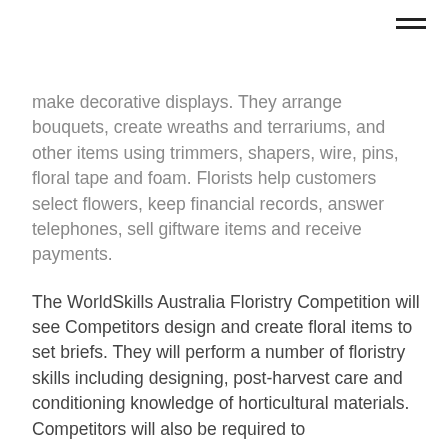make decorative displays. They arrange bouquets, create wreaths and terrariums, and other items using trimmers, shapers, wire, pins, floral tape and foam. Florists help customers select flowers, keep financial records, answer telephones, sell giftware items and receive payments.
The WorldSkills Australia Floristry Competition will see Competitors design and create floral items to set briefs. They will perform a number of floristry skills including designing, post-harvest care and conditioning knowledge of horticultural materials. Competitors will also be required to